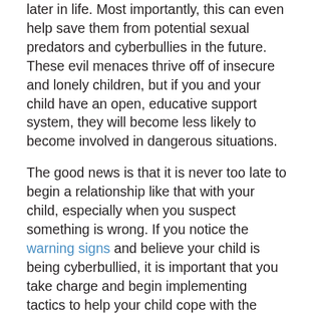later in life. Most importantly, this can even help save them from potential sexual predators and cyberbullies in the future. These evil menaces thrive off of insecure and lonely children, but if you and your child have an open, educative support system, they will become less likely to become involved in dangerous situations.
The good news is that it is never too late to begin a relationship like that with your child, especially when you suspect something is wrong. If you notice the warning signs and believe your child is being cyberbullied, it is important that you take charge and begin implementing tactics to help your child cope with the mental and emotional aftermath of being bullied and support them and their decisions.
Cyberbullying can lead children to become depressed and even suicidal. Something as simple as changing a child's outlook on one aspect of life can change their